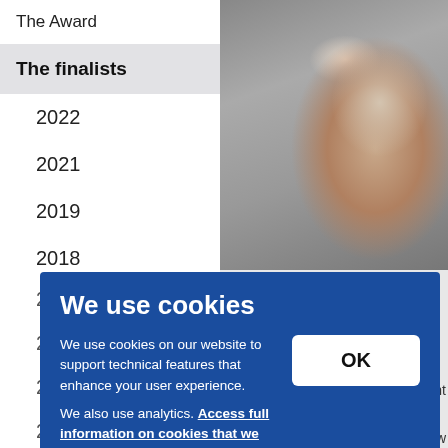The Award
The finalists
2022
2021
2019
2018
[Figure (photo): Close-up photograph of an older man with gray hair and glasses, wearing a pink shirt, in an industrial or workshop setting.]
We use cookies
We use cookies on our website to support technical features that enhance your user experience.
We also use analytics. Access full information on cookies that we use and how to manage them